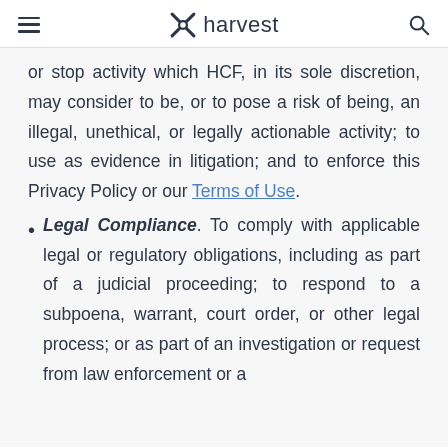harvest
or stop activity which HCF, in its sole discretion, may consider to be, or to pose a risk of being, an illegal, unethical, or legally actionable activity; to use as evidence in litigation; and to enforce this Privacy Policy or our Terms of Use.
Legal Compliance. To comply with applicable legal or regulatory obligations, including as part of a judicial proceeding; to respond to a subpoena, warrant, court order, or other legal process; or as part of an investigation or request from law enforcement or a